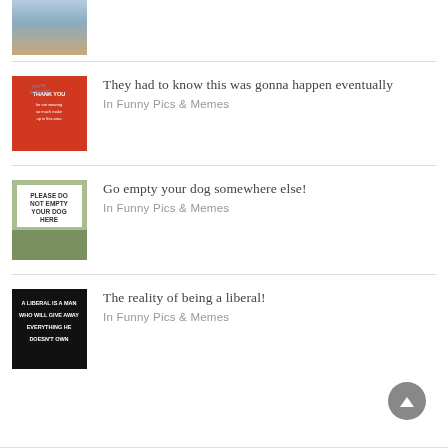[Figure (photo): Partial thumbnail of people at top of page]
[Figure (photo): Red Thank You sign with handwritten note]
They had to know this was gonna happen eventually
In Funny Pics & Memes
[Figure (photo): Sign reading PLEASE DO NOT EMPTY YOUR DOG HERE]
Go empty your dog somewhere else!
In Funny Pics & Memes
[Figure (photo): Black image with white text: A LIBERAL IS A MAN WHO WILL GIVE AWAY EVERYTHING HE DOESN'T OWN]
The reality of being a liberal!
In Funny Pics & Memes